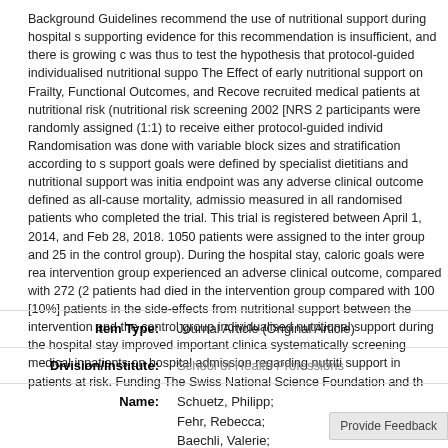Background Guidelines recommend the use of nutritional support during hospital s... supporting evidence for this recommendation is insufficient, and there is growing c... was thus to test the hypothesis that protocol-guided individualised nutritional suppo... The Effect of early nutritional support on Frailty, Functional Outcomes, and Recove... recruited medical patients at nutritional risk (nutritional risk screening 2002 [NRS 2... participants were randomly assigned (1:1) to receive either protocol-guided individ... Randomisation was done with variable block sizes and stratification according to s... support goals were defined by specialist dietitians and nutritional support was initia... endpoint was any adverse clinical outcome defined as all-cause mortality, admissio... measured in all randomised patients who completed the trial. This trial is registered... between April 1, 2014, and Feb 28, 2018. 1050 patients were assigned to the inter... group and 25 in the control group). During the hospital stay, caloric goals were rea... intervention group experienced an adverse clinical outcome, compared with 272 (2... patients had died in the intervention group compared with 100 [10%] patients in the... side-effects from nutritional support between the intervention and the control group... individualised nutritional support during the hospital stay improved important clinica... systematically screening medical inpatients on hospital admission regarding nutriti... support in patients at risk. Funding The Swiss National Science Foundation and th...
| Field | Value |
| --- | --- |
| Item Type: | Journal Article (Original Article) |
| Division/Institute: | School of Health Professions |
| Name: | Schuetz, Philipp;
Fehr, Rebecca;
Baechli, Valerie;
Geiser, Martina;
Deiss, Manuela; |